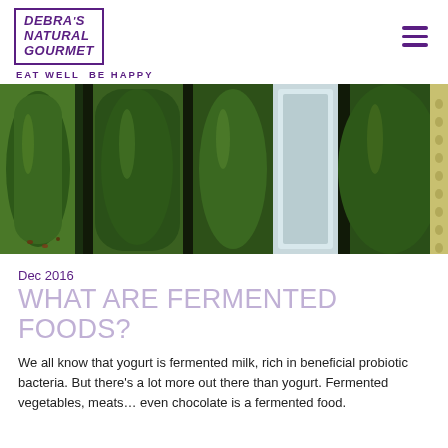[Figure (logo): Debra's Natural Gourmet logo with purple border box, stylized text and tagline 'EAT WELL BE HAPPY']
[Figure (photo): Close-up photo of cucumbers/pickles fermenting in glass jars, showing green cucumbers submerged in brine]
Dec 2016
WHAT ARE FERMENTED FOODS?
We all know that yogurt is fermented milk, rich in beneficial probiotic bacteria. But there’s a lot more out there than yogurt. Fermented vegetables, meats… even chocolate is a fermented food.